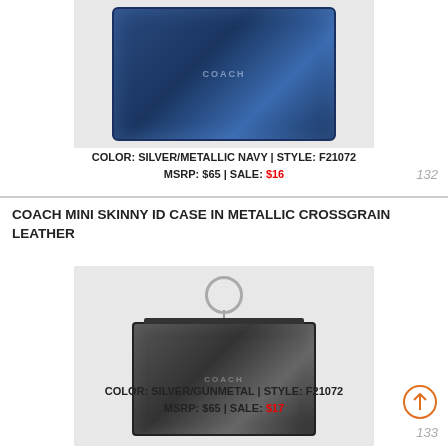[Figure (photo): Coach wallet in silver/metallic navy crossgrain leather, partially cropped at top]
COLOR: SILVER/METALLIC NAVY | STYLE: F21072
MSRP: $65 | SALE: $16
132
COACH MINI SKINNY ID CASE IN METALLIC CROSSGRAIN LEATHER
[Figure (photo): Coach mini skinny ID case in silver/gunmetal metallic crossgrain leather with key ring attachment]
COLOR: SILVER/GUNMETAL | STYLE: F21072
MSRP: $65 | SALE: $17
133